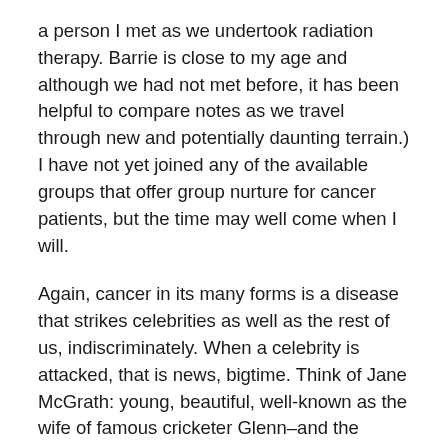a person I met as we undertook radiation therapy. Barrie is close to my age and although we had not met before, it has been helpful to compare notes as we travel through new and potentially daunting terrain.) I have not yet joined any of the available groups that offer group nurture for cancer patients, but the time may well come when I will.
Again, cancer in its many forms is a disease that strikes celebrities as well as the rest of us, indiscriminately. When a celebrity is attacked, that is news, bigtime. Think of Jane McGrath: young, beautiful, well-known as the wife of famous cricketer Glenn–and the loving mother of two children. Jane's charitable foundation, memorialising the fight she lost with breast cancer, like the widely discussed struggle of broadcaster Alan Jones with prostate cancer, have helped to demythologise those forms of the disease. Think of the way Jones confronted